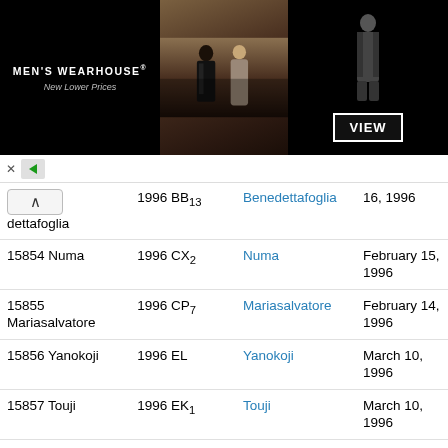[Figure (photo): Men's Wearhouse advertisement banner with 'New Lower Prices' tagline, couple in formal wear, single male figure in suit, and VIEW button]
| Number/Name | Designation | Link | Date |
| --- | --- | --- | --- |
| ↑  dettafoglia | 1996 BB13 | Benedettafoglia | 16, 1996 |
| 15854 Numa | 1996 CX2 | Numa | February 15, 1996 |
| 15855 Mariasalvatore | 1996 CP7 | Mariasalvatore | February 14, 1996 |
| 15856 Yanokoji | 1996 EL | Yanokoji | March 10, 1996 |
| 15857 Touji | 1996 EK1 | Touji | March 10, 1996 |
| 15858 Davidwoods | 1996 EK15 | Davidwoods | March 12, 1996 |
| 15859 | 1996 GO18 | — | April 15, 1996 |
| 15860 Siráň | 1996 HO | Siráň | April 20, 1996 |
| 15861 Ispahan | 1996 HB12 | Ispahan | April 17, 1996 |
| 15862 | 1996 HJ15 | — | April 17, 1996 |